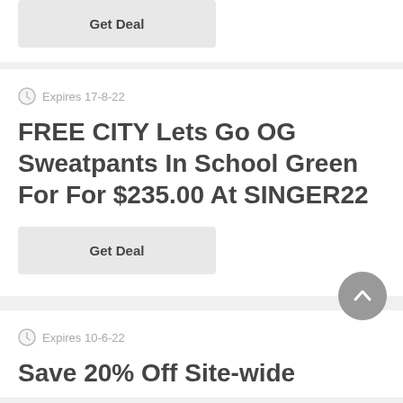Get Deal
Expires 17-8-22
FREE CITY Lets Go OG Sweatpants In School Green For For $235.00 At SINGER22
Get Deal
Expires 10-6-22
Save 20% Off Site-wide